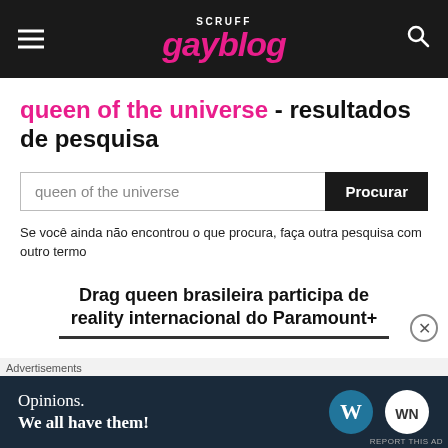SCRUFF gayblog
queen of the universe - resultados de pesquisa
queen of the universe
Se você ainda não encontrou o que procura, faça outra pesquisa com outro termo
Drag queen brasileira participa de reality internacional do Paramount+
[Figure (screenshot): WordPress advertisement banner: Opinions. We all have them! with WordPress and WooCommerce logos]
Advertisements